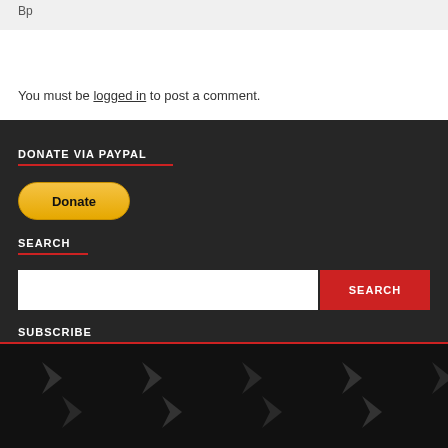Bp
You must be logged in to post a comment.
DONATE VIA PAYPAL
[Figure (other): PayPal Donate button with yellow rounded pill shape]
SEARCH
SEARCH (search input and button)
SUBSCRIBE
[Figure (other): Dark bottom section with repeating dark grey chevron/arrow shapes pattern]